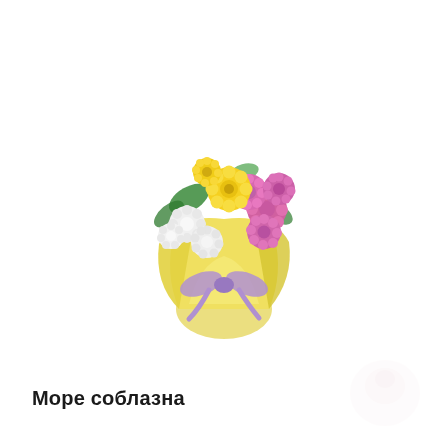[Figure (photo): A floral bouquet wrapped in yellow paper with a purple/lavender ribbon bow. The bouquet contains pink chrysanthemums, white chrysanthemums, yellow gerbera-like flowers, and green leaves.]
Море соблазна